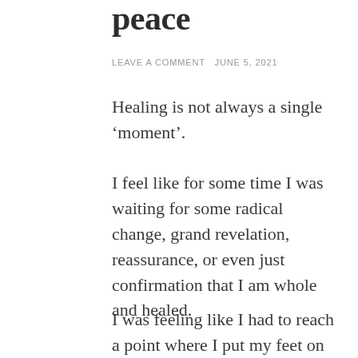peace
LEAVE A COMMENT  JUNE 5, 2021
Healing is not always a single ‘moment’.
I feel like for some time I was waiting for some radical change, grand revelation, reassurance, or even just confirmation that I am whole and healed.
I was feeling like I had to reach a point where I put my feet on the ground every morning